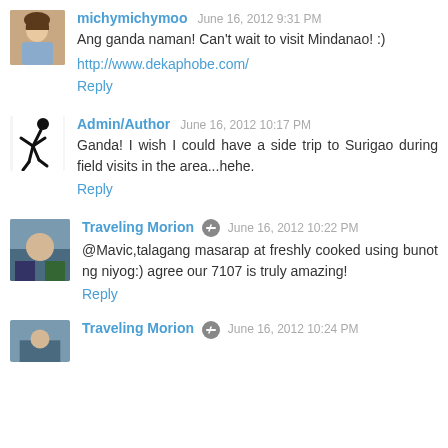michymichymoo June 16, 2012 9:31 PM
Ang ganda naman! Can't wait to visit Mindanao! :)
http://www.dekaphobe.com/
Reply
Admin/Author June 16, 2012 10:17 PM
Ganda! I wish I could have a side trip to Surigao during field visits in the area...hehe.
Reply
Traveling Morion June 16, 2012 10:22 PM
@Mavic,talagang masarap at freshly cooked using bunot ng niyog:) agree our 7107 is truly amazing!
Reply
Traveling Morion June 16, 2012 10:24 PM